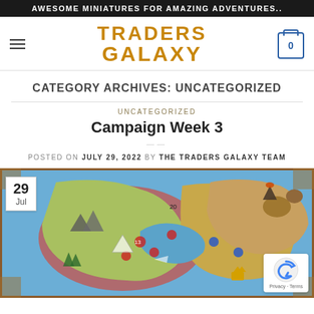AWESOME MINIATURES FOR AMAZING ADVENTURES..
[Figure (logo): Traders Galaxy logo with hamburger menu on left and shopping cart icon (0) on right]
CATEGORY ARCHIVES: UNCATEGORIZED
UNCATEGORIZED
Campaign Week 3
POSTED ON JULY 29, 2022 BY THE TRADERS GALAXY TEAM
[Figure (photo): Game board map image showing a campaign map with territories, miniature pieces, mountains, volcanoes, and various game tokens. Date badge showing 29 Jul in top-left corner.]